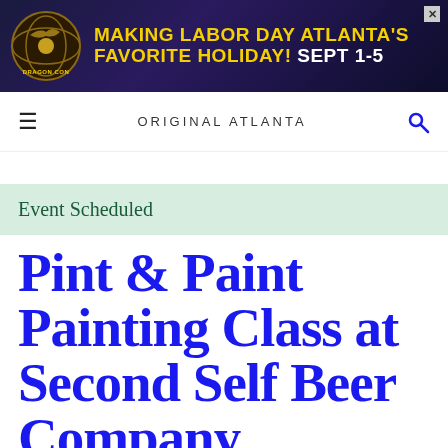[Figure (other): Dragon Con advertisement banner: dark purple/navy background with Dragon Con globe logo, yellow bold text 'MAKING LABOR DAY ATLANTA'S FAVORITE HOLIDAY!' and white text 'SEPT 1-5']
ORIGINAL ATLANTA
Event Scheduled
Pint & Paint Painting Class at Second Self Beer Company